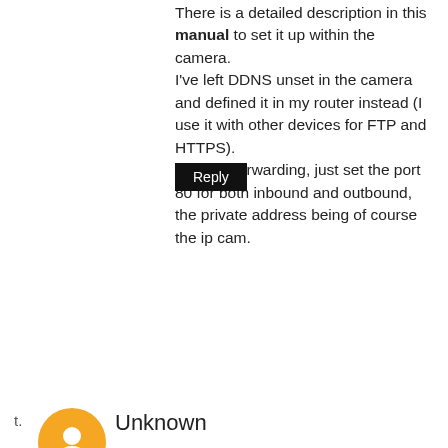There is a detailed description in this manual to set it up within the camera.
I've left DDNS unset in the camera and defined it in my router instead (I use it with other devices for FTP and HTTPS).
For port forwarding, just set the port 80 for both inbound and outbound, the private address being of course the ip cam.
Reply
Unknown
Dec 29, 2009, 11:31:00 AM
i've just received from dealextreme webcam Device ID 00606E79863A,Device Firmware Version 11.14.1.34 . first day after setup wireless worked fine in all rooms upstairs and downstairs, even in the garden. next day stopped and wireless is working only 2 meters from the router. all my other devices works fine on the distance. what could happened? should i update the firmware? it seems it is real foscam but who knows.
Reply